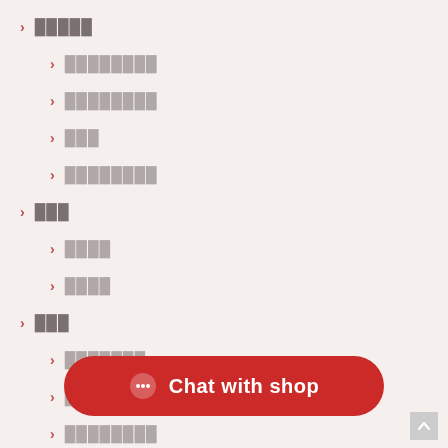█████
████████
████████
███
████████
███
████
████
███
███████
███████
████████
Chat with shop